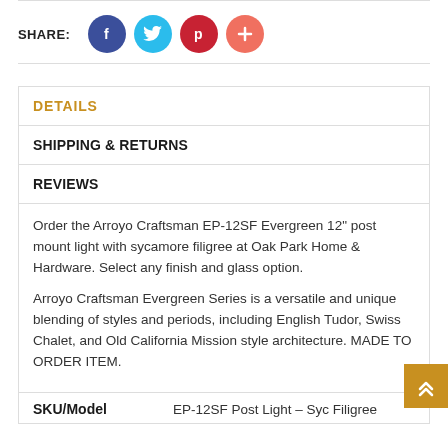SHARE:
[Figure (infographic): Social share buttons: Facebook (dark blue circle with f), Twitter (light blue circle with bird), Pinterest (dark red circle with p), Plus/More (salmon circle with +)]
DETAILS
SHIPPING & RETURNS
REVIEWS
Order the Arroyo Craftsman EP-12SF Evergreen 12" post mount light with sycamore filigree at Oak Park Home & Hardware. Select any finish and glass option.
Arroyo Craftsman Evergreen Series is a versatile and unique blending of styles and periods, including English Tudor, Swiss Chalet, and Old California Mission style architecture. MADE TO ORDER ITEM.
SKU/Model	EP-12SF Post Light – Syc Filigree